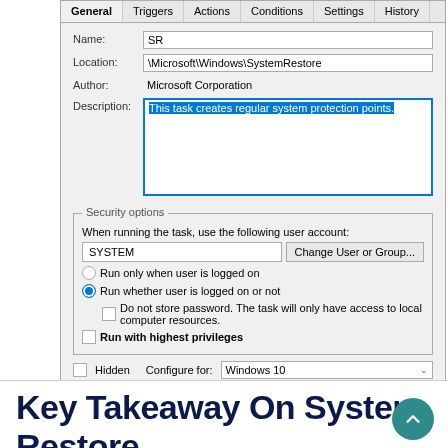[Figure (screenshot): Windows Task Scheduler dialog showing General tab with fields: Name: SR, Location: \Microsoft\Windows\SystemRestore, Author: Microsoft Corporation, Description: 'This task creates regular system protection points.' (highlighted in blue). Security options section shows user account SYSTEM with Change User or Group button, radio buttons for run options, checkboxes, and Configure for: Windows 10 dropdown.]
Key Takeaway On System Restore
Going to 'System Restore' and simply enabling this feature and making sure you have enough disk space for...